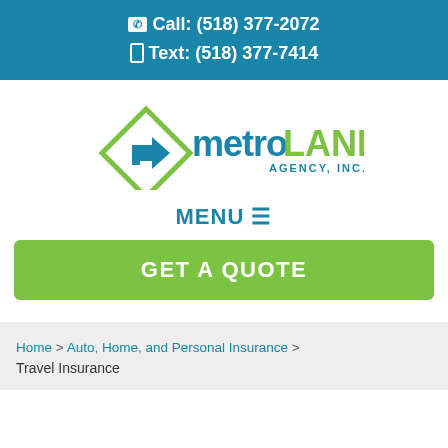📞 Call: (518) 377-2072  📱 Text: (518) 377-7414
[Figure (logo): metroLAND Agency, Inc. logo with green diamond shape and blue arrow icon]
MENU ☰
GET A QUOTE
Home > Auto, Home, and Personal Insurance > Travel Insurance